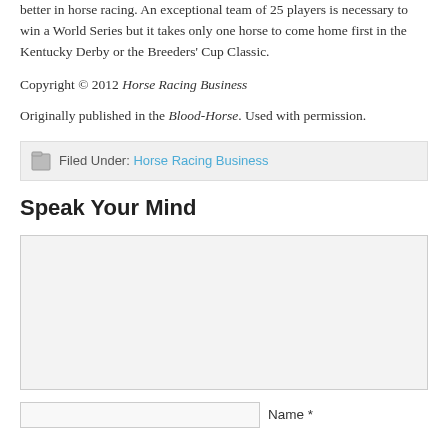better in horse racing. An exceptional team of 25 players is necessary to win a World Series but it takes only one horse to come home first in the Kentucky Derby or the Breeders' Cup Classic.
Copyright © 2012 Horse Racing Business
Originally published in the Blood-Horse. Used with permission.
Filed Under: Horse Racing Business
Speak Your Mind
[Figure (other): Comment text area input field]
[Figure (other): Name input field with label 'Name *']